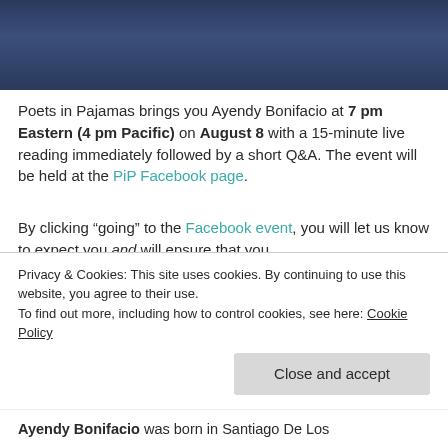[Figure (photo): Top portion of a person's face/head wearing a dark navy sweater, blurred background]
Poets in Pajamas brings you Ayendy Bonifacio at 7 pm Eastern (4 pm Pacific) on August 8 with a 15-minute live reading immediately followed by a short Q&A. The event will be held at the PiP Facebook page.
By clicking “going” to the Facebook event, you will let us know to expect you and will ensure that you
Privacy & Cookies: This site uses cookies. By continuing to use this website, you agree to their use.
To find out more, including how to control cookies, see here: Cookie Policy
Close and accept
Ayendy Bonifacio was born in Santiago De Los